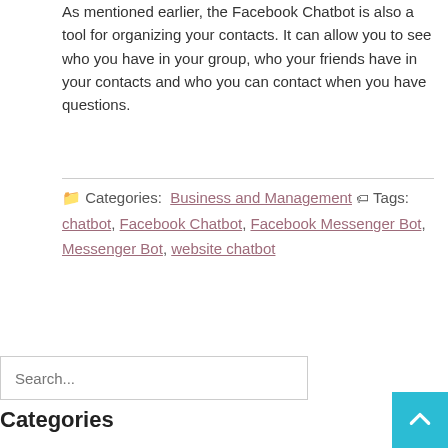As mentioned earlier, the Facebook Chatbot is also a tool for organizing your contacts. It can allow you to see who you have in your group, who your friends have in your contacts and who you can contact when you have questions.
Categories: Business and Management  Tags: chatbot, Facebook Chatbot, Facebook Messenger Bot, Messenger Bot, website chatbot
Search...
Categories